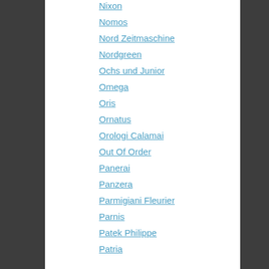Nixon
Nomos
Nord Zeitmaschine
Nordgreen
Ochs und Junior
Omega
Oris
Ornatus
Orologi Calamai
Out Of Order
Panerai
Panzera
Parmigiani Fleurier
Parnis
Patek Philippe
Patria